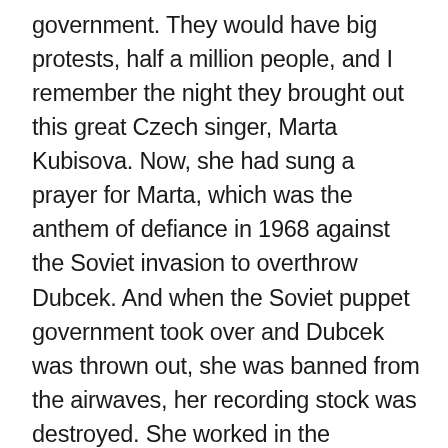government. They would have big protests, half a million people, and I remember the night they brought out this great Czech singer, Marta Kubisova. Now, she had sung a prayer for Marta, which was the anthem of defiance in 1968 against the Soviet invasion to overthrow Dubcek. And when the Soviet puppet government took over and Dubcek was thrown out, she was banned from the airwaves, her recording stock was destroyed. She worked in the intervening years on an assembly line, a toy factory. And I was there that night when she walked out on that balcony and began to sing a prayer for Marta and every Czech in the crowd knew every